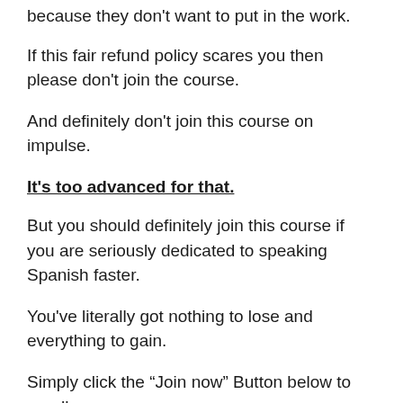because they don't want to put in the work.
If this fair refund policy scares you then please don't join the course.
And definitely don't join this course on impulse.
It's too advanced for that.
But you should definitely join this course if you are seriously dedicated to speaking Spanish faster.
You've literally got nothing to lose and everything to gain.
Simply click the “Join now” Button below to enroll now.